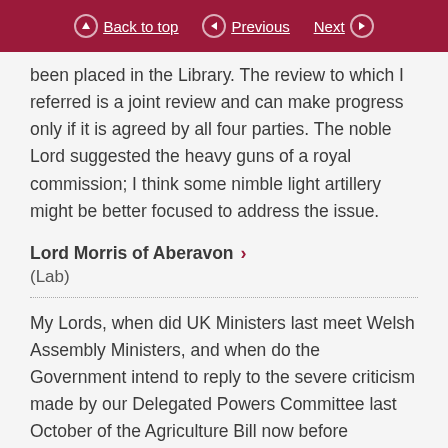Back to top | Previous | Next
been placed in the Library. The review to which I referred is a joint review and can make progress only if it is agreed by all four parties. The noble Lord suggested the heavy guns of a royal commission; I think some nimble light artillery might be better focused to address the issue.
Lord Morris of Aberavon
(Lab)
My Lords, when did UK Ministers last meet Welsh Assembly Ministers, and when do the Government intend to reply to the severe criticism made by our Delegated Powers Committee last October of the Agriculture Bill now before Parliament, which sought to bypass the devolved legislatures — or are